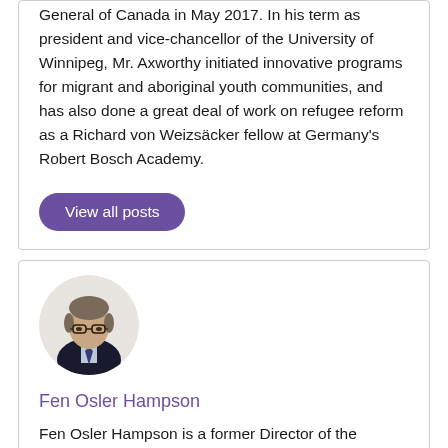General of Canada in May 2017. In his term as president and vice-chancellor of the University of Winnipeg, Mr. Axworthy initiated innovative programs for migrant and aboriginal youth communities, and has also done a great deal of work on refugee reform as a Richard von Weizsäcker fellow at Germany's Robert Bosch Academy.
View all posts
[Figure (photo): Circular headshot portrait of Fen Osler Hampson, a middle-aged man with glasses wearing a dark suit and tie.]
Fen Osler Hampson
Fen Osler Hampson is a former Director of the